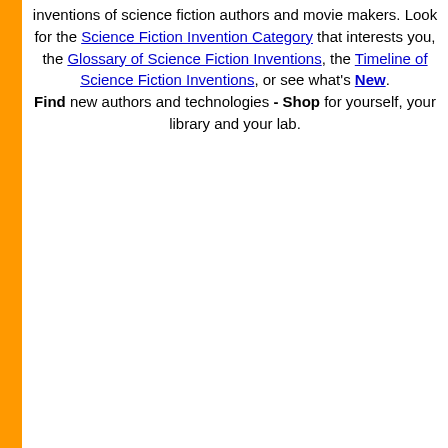inventions of science fiction authors and movie makers. Look for the Science Fiction Invention Category that interests you, the Glossary of Science Fiction Inventions, the Timeline of Science Fiction Inventions, or see what's New. Find new authors and technologies - Shop for yourself, your library and your lab.